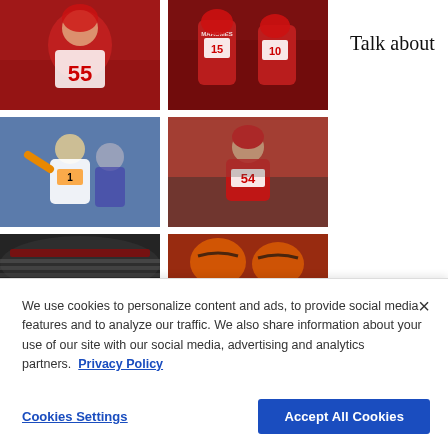[Figure (photo): NFL football player #55 in red Kansas City Chiefs uniform gesturing on field]
[Figure (photo): NFL football players #15 Mahomes and #10 in red Kansas City Chiefs uniforms]
[Figure (photo): NFL football player #1 in white Cincinnati Bengals uniform running with ball]
[Figure (photo): NFL football player #54 in red Kansas City Chiefs uniform celebrating]
[Figure (photo): Partial view of NFL stadium interior]
[Figure (photo): Partial view of Cincinnati Bengals players in orange helmets]
Talk about
We use cookies to personalize content and ads, to provide social media features and to analyze our traffic. We also share information about your use of our site with our social media, advertising and analytics partners.  Privacy Policy
Cookies Settings
Accept All Cookies